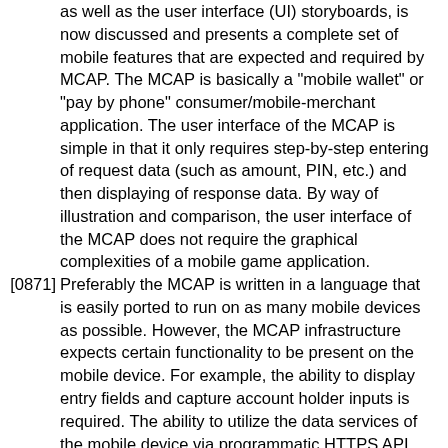as well as the user interface (UI) storyboards, is now discussed and presents a complete set of mobile features that are expected and required by MCAP. The MCAP is basically a "mobile wallet" or "pay by phone" consumer/mobile-merchant application. The user interface of the MCAP is simple in that it only requires step-by-step entering of request data (such as amount, PIN, etc.) and then displaying of response data. By way of illustration and comparison, the user interface of the MCAP does not require the graphical complexities of a mobile game application.
[0871] Preferably the MCAP is written in a language that is easily ported to run on as many mobile devices as possible. However, the MCAP infrastructure expects certain functionality to be present on the mobile device. For example, the ability to display entry fields and capture account holder inputs is required. The ability to utilize the data services of the mobile device via programmatic HTTPS API invocations is also required if the ability to utilize the SMS text services of the mobile device via